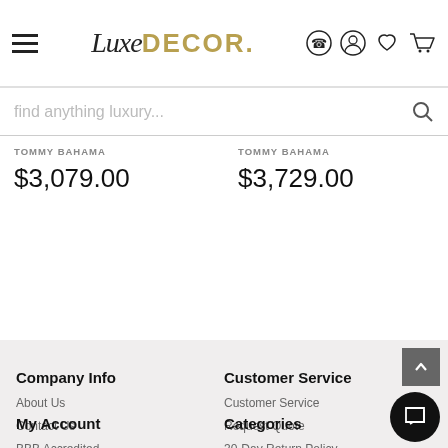LuxeDECOR
find anything luxury...
TOMMY BAHAMA $3,079.00
TOMMY BAHAMA $3,729.00
Company Info
About Us
Contact Us
BBB Accredited
Trusted Commerce
Terms of Use
Privacy Policy
Accessibility
Customer Service
Customer Service
Request Quote
30-Day Return Policy
Shipping Policy
Verified Merchant
My Account
Categories